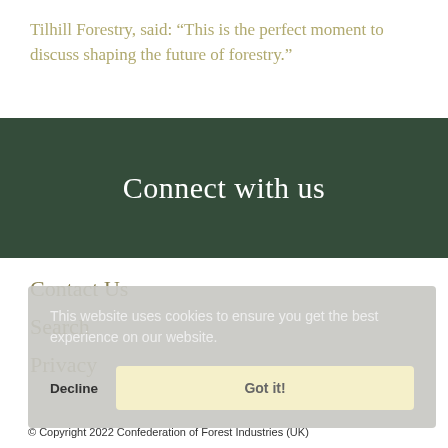Tilhill Forestry, said: “This is the perfect moment to discuss shaping the future of forestry.”
Connect with us
Contact Us
Search
Privacy
This website uses cookies to ensure you get the best experience on our website.
Decline
Got it!
© Copyright 2022 Confederation of Forest Industries (UK)